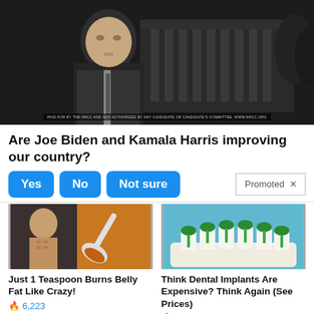[Figure (photo): Black and white photo of Joe Biden in front of the White House, with a disclaimer text overlay at the bottom.]
Are Joe Biden and Kamala Harris improving our country?
Yes | No | Not sure (poll buttons)   Promoted ×
[Figure (photo): Ad thumbnail showing a fit person's torso and a spoon with orange spice powder.]
Just 1 Teaspoon Burns Belly Fat Like Crazy!
🔥 6,223
[Figure (photo): Ad thumbnail showing a dental model with green dental implants on white teeth mold.]
Think Dental Implants Are Expensive? Think Again (See Prices)
🔥 50,797